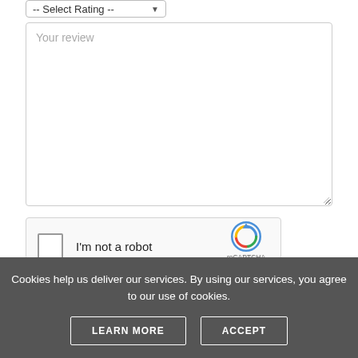[Figure (screenshot): A dropdown select box labeled '-- Select Rating --' with a down-arrow icon, shown partially at top of page.]
Your review
[Figure (screenshot): reCAPTCHA widget with checkbox labeled 'I'm not a robot', reCAPTCHA logo with Privacy and Terms links.]
Cookies help us deliver our services. By using our services, you agree to our use of cookies.
LEARN MORE
ACCEPT